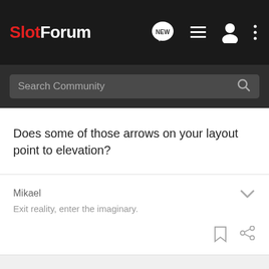SlotForum
Search Community
Does some of those arrows on your layout point to elevation?
Mikael
Exit reality, enter the imaginary.